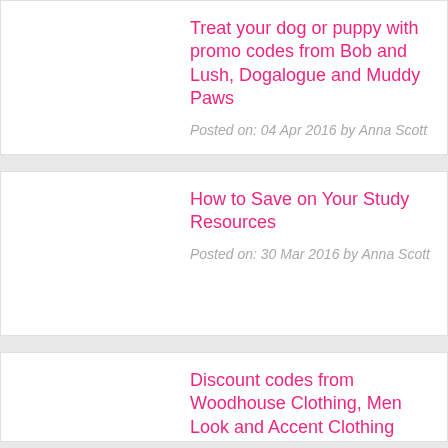Treat your dog or puppy with promo codes from Bob and Lush, Dogalogue and Muddy Paws
Posted on: 04 Apr 2016 by Anna Scott
How to Save on Your Study Resources
Posted on: 30 Mar 2016 by Anna Scott
Discount codes from Woodhouse Clothing, Men Look and Accent Clothing